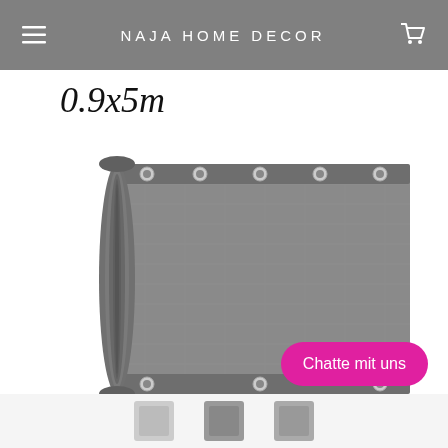NAJA HOME DECOR
0.9x5m
[Figure (photo): A rolled-up grey balcony privacy screen/fence mesh mat with metal eyelets along the top edge, partially unrolled to show texture and size 0.9x5m]
Chatte mit uns